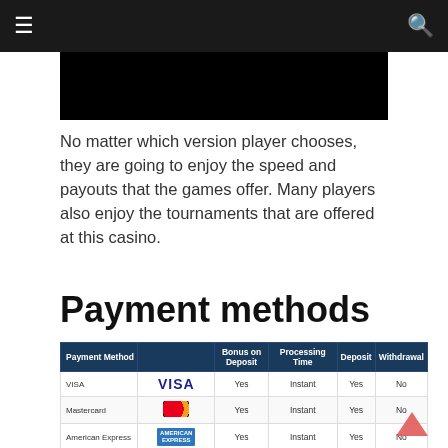Navigation bar with hamburger menu and search icon
[Figure (screenshot): Black banner image at top of casino page]
No matter which version player chooses, they are going to enjoy the speed and payouts that the games offer. Many players also enjoy the tournaments that are offered at this casino.
Payment methods
| Payment Method |  | Bonus on Deposit | Processing Time | Deposit | Withdrawal |
| --- | --- | --- | --- | --- | --- |
| VISA | VISA | Yes | Instant | Yes | No |
| Mastercard | [logo] | Yes | Instant | Yes | No |
| American Express | [logo] | Yes | Instant | Yes | No |
| Skrill (Moneybookers) | Skrill [logo] | Yes | Instant | Yes | Yes |
| Neteller | NETELLER. | Yes | Instant | Yes | Yes |
| ECO Card | eco | Yes | Instant | Yes | Yes |